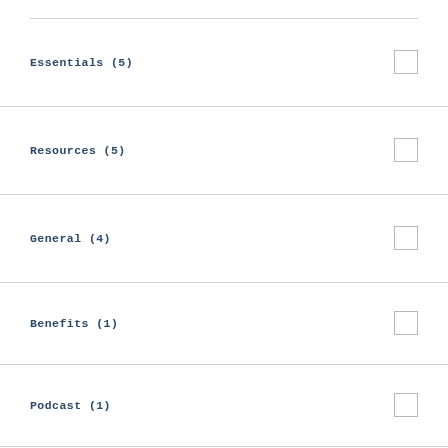Essentials (5)
Resources (5)
General (4)
Benefits (1)
Podcast (1)
BY CONTENT TAG:
efmp (30)